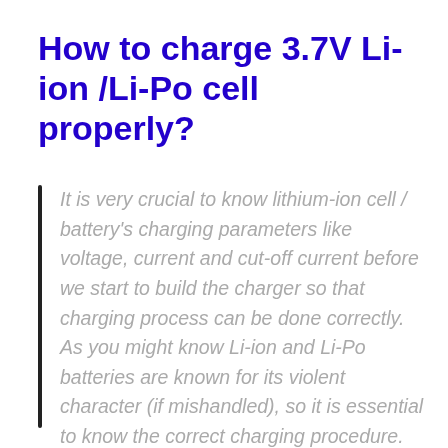How to charge 3.7V Li-ion /Li-Po cell properly?
It is very crucial to know lithium-ion cell / battery's charging parameters like voltage, current and cut-off current before we start to build the charger so that charging process can be done correctly. As you might know Li-ion and Li-Po batteries are known for its violent character (if mishandled), so it is essential to know the correct charging procedure.